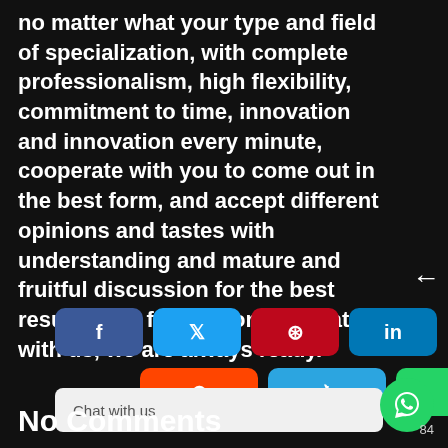no matter what your type and field of specialization, with complete professionalism, high flexibility, commitment to time, innovation and innovation every minute, cooperate with you to come out in the best form, and accept different opinions and tastes with understanding and mature and fruitful discussion for the best results, feel free to communicate with us, we are always ready.
[Figure (infographic): Social media share buttons: Facebook (blue), Twitter (light blue), Pinterest (red), LinkedIn (blue) in first row; Reddit (orange), Telegram (blue), WhatsApp (green) in second row]
[Figure (infographic): Chat with us bar and WhatsApp circle button]
No Comments